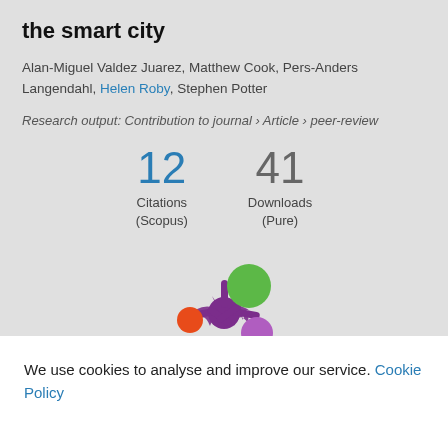the smart city
Alan-Miguel Valdez Juarez, Matthew Cook, Pers-Anders Langendahl, Helen Roby, Stephen Potter
Research output: Contribution to journal › Article › peer-review
[Figure (infographic): Metrics display showing 12 Citations (Scopus) and 41 Downloads (Pure)]
[Figure (logo): Altmetric or Pure logo - colorful circles arranged in a flower/splash pattern with purple, orange, green, and pink circles]
We use cookies to analyse and improve our service. Cookie Policy